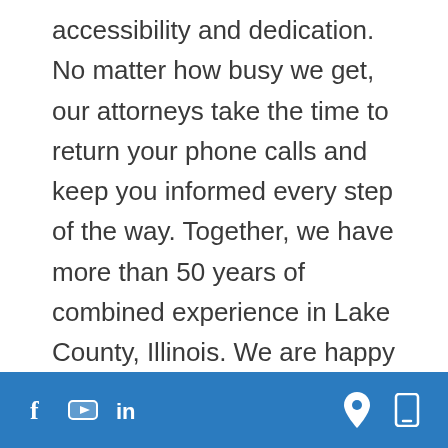accessibility and dedication. No matter how busy we get, our attorneys take the time to return your phone calls and keep you informed every step of the way. Together, we have more than 50 years of combined experience in Lake County, Illinois. We are happy to discuss the results of situations similar to yours and provide you with testimonials from our business clients.
The creation, acquisition, sale and day-to-day dealings of small business...
Social media icons: Facebook, YouTube, LinkedIn | Location and mobile icons